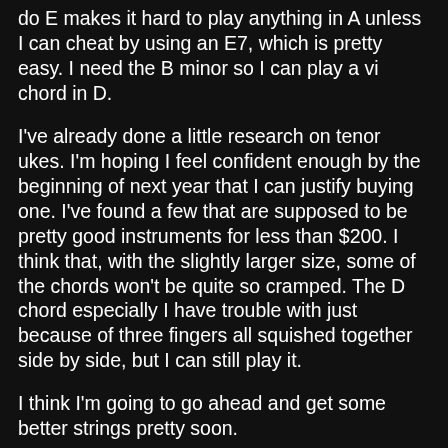do E makes it hard to play anything in A unless I can cheat by using an E7, which is pretty easy.  I need the B minor so I can play a vi chord in D.
I've already done a little research on tenor ukes.  I'm hoping I feel confident enough by the beginning of next year that I can justify buying one.  I've found a few that are supposed to be pretty good instruments for less than $200.  I think that, with the slightly larger size, some of the chords won't be quite so cramped.  The D chord especially I have trouble with just because of three fingers all squished together side by side, but I can still play it.
I think I'm going to go ahead and get some better strings pretty soon.
My next song project will be to see if there are any Stevie Nicks songs that I can play.  I'm thinking maybe "After the Glitter Fades" (from her Belladonna album) would fit the mold.  It has a very country-ish sound that would probably work with a lot of the other songs I'm trying to learn.  Trivia:  "After the Glitter Fades" was actually released on the